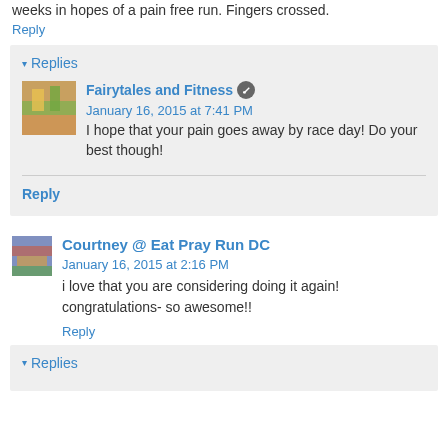weeks in hopes of a pain free run. Fingers crossed.
Reply
▾ Replies
Fairytales and Fitness  January 16, 2015 at 7:41 PM
I hope that your pain goes away by race day! Do your best though!
Reply
Courtney @ Eat Pray Run DC  January 16, 2015 at 2:16 PM
i love that you are considering doing it again! congratulations- so awesome!!
Reply
▾ Replies